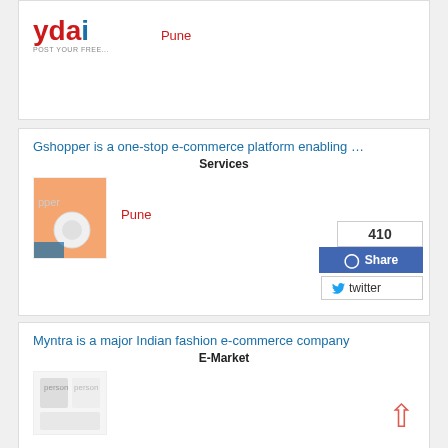[Figure (logo): ydai logo with red and blue text and 'POST YOUR FREE...' tagline]
Pune
Gshopper is a one-stop e-commerce platform enabling …
Services
[Figure (photo): Product image showing electronics/mouse on orange background]
Pune
Myntra is a major Indian fashion e-commerce company
E-Market
[Figure (photo): Fashion product image showing people in clothing]